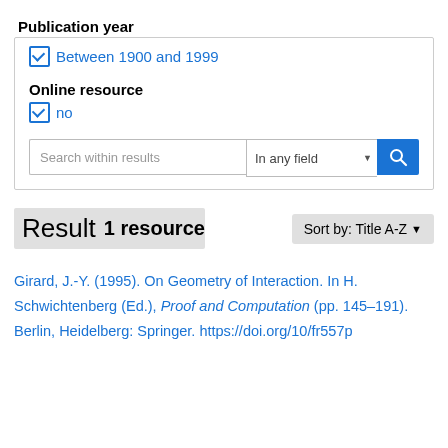Publication year
Between 1900 and 1999
Online resource
no
Search within results | In any field
Result 1 resource
Sort by: Title A-Z
Girard, J.-Y. (1995). On Geometry of Interaction. In H. Schwichtenberg (Ed.), Proof and Computation (pp. 145–191). Berlin, Heidelberg: Springer. https://doi.org/10/fr557p